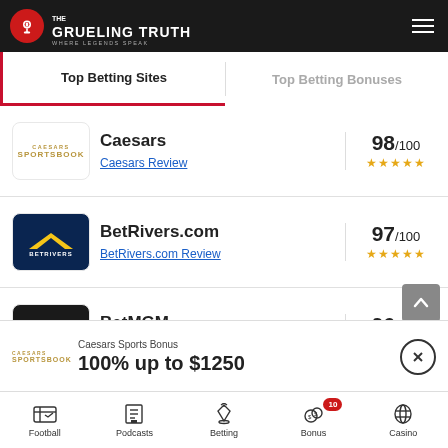The Grueling Truth – Where Legends Speak
Top Betting Sites
Top Betting Bonuses
Caesars – 98/100 – Caesars Review
BetRivers.com – 97/100 – BetRivers.com Review
BetMGM – 96/100 – BetMGM Review
Caesars Sports Bonus – 100% up to $1250
Football | Podcasts | Betting | Bonus 10 | Casino